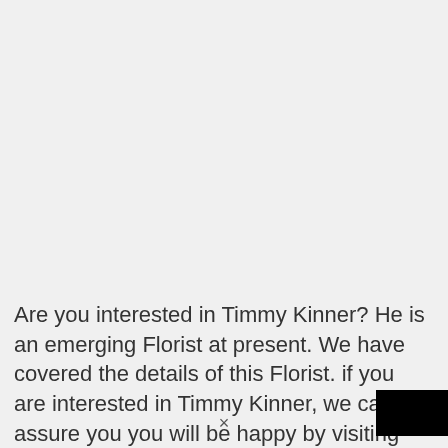Are you interested in Timmy Kinner? He is an emerging Florist at present. We have covered the details of this Florist. if you are interested in Timmy Kinner, we can assure you you will be happy by visiting here. Scroll down the below section you will get Timmy Kinner...